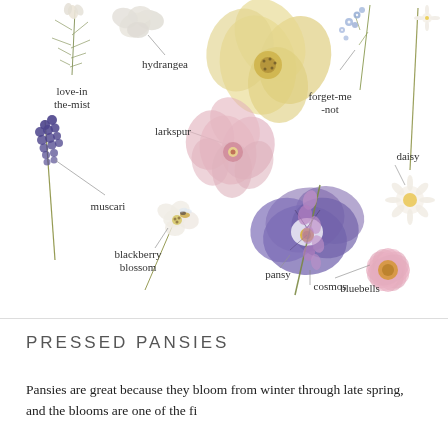[Figure (illustration): Botanical illustration of pressed flowers with labels: love-in-the-mist, hydrangea, forget-me-not, daisy, larkspur, muscari, blackberry blossom, bluebells, pansy, cosmos]
PRESSED PANSIES
Pansies are great because they bloom from winter through late spring, and the blooms are one of the first...